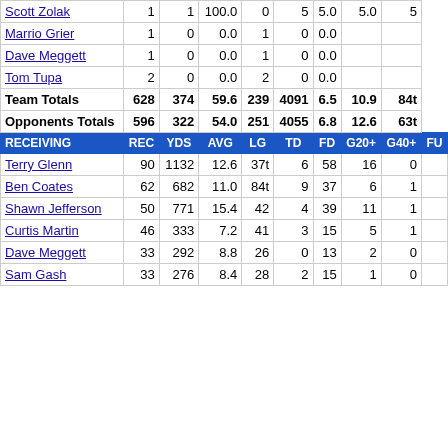| Player | ATT | COM | PCT | INT | YDS | AVG | LG | TD | ... |
| --- | --- | --- | --- | --- | --- | --- | --- | --- | --- |
| Scott Zolak | 1 | 1 | 100.0 | 0 | 5 | 5.0 | 5.0 | 5 |
| Marrio Grier | 1 | 0 | 0.0 | 1 | 0 | 0.0 |  |  |
| Dave Meggett | 1 | 0 | 0.0 | 1 | 0 | 0.0 |  |  |
| Tom Tupa | 2 | 0 | 0.0 | 2 | 0 | 0.0 |  |  |
| Team Totals | 628 | 374 | 59.6 | 239 | 4091 | 6.5 | 10.9 | 84t |
| Opponents Totals | 596 | 322 | 54.0 | 251 | 4055 | 6.8 | 12.6 | 63t |
| RECEIVING HEADER | REC | YDS | AVG | LG | TD | FD | G20+ | G40+ | FU |
| Terry Glenn | 90 | 1132 | 12.6 | 37t | 6 | 58 | 16 | 0 |  |
| Ben Coates | 62 | 682 | 11.0 | 84t | 9 | 37 | 6 | 1 |  |
| Shawn Jefferson | 50 | 771 | 15.4 | 42 | 4 | 39 | 11 | 1 |  |
| Curtis Martin | 46 | 333 | 7.2 | 41 | 3 | 15 | 5 | 1 |  |
| Dave Meggett | 33 | 292 | 8.8 | 26 | 0 | 13 | 2 | 0 |  |
| Sam Gash | 33 | 276 | 8.4 | 28 | 2 | 15 | 1 | 0 |  |